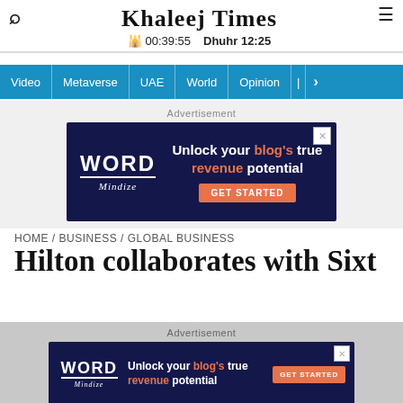Khaleej Times — 00:39:55 — Dhuhr 12:25
Video | Metaverse | UAE | World | Opinion | >
[Figure (other): Advertisement banner: Word Mindize — Unlock your blog's true revenue potential. GET STARTED button.]
HOME / BUSINESS / GLOBAL BUSINESS
Hilton collaborates with Sixt
[Figure (other): Advertisement banner (smaller): Word Mindize — Unlock your blog's true revenue potential. GET STARTED button.]